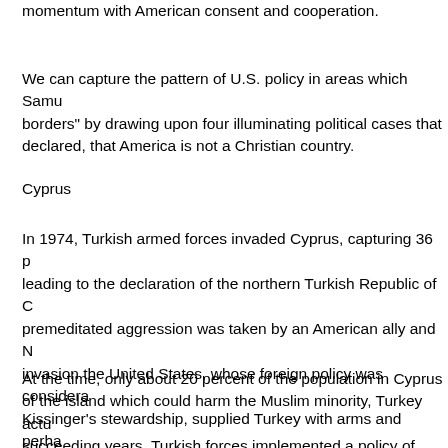momentum with American consent and cooperation.
We can capture the pattern of U.S. policy in areas which Samu borders" by drawing upon four illuminating political cases that declared, that America is not a Christian country.
Cyprus
In 1974, Turkish armed forces invaded Cyprus, capturing 36 p leading to the declaration of the northern Turkish Republic of C premeditated aggression was taken by an American ally and N invasion the United States, whose foreign policy was considera Kissinger's stewardship, supplied Turkey with arms and perha administration was sending a message of enmity to Archbishop along non-aligned lines in the Cold War conflict between the tw demonstrated Soviet impotence, and sent a message of friend
At the time, only about 20 percent of the population in Cyprus of the island which could harm the Muslim minority, Turkey actu succeeding years, Turkish forces implemented a policy of "eth